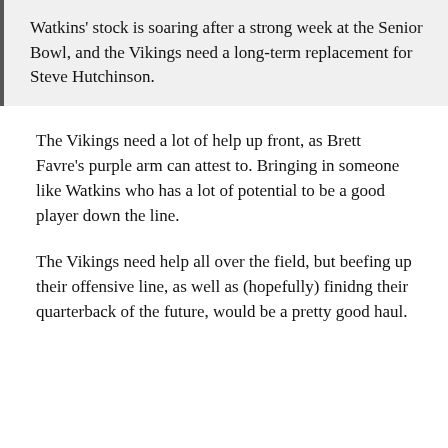Watkins' stock is soaring after a strong week at the Senior Bowl, and the Vikings need a long-term replacement for Steve Hutchinson.
The Vikings need a lot of help up front, as Brett Favre's purple arm can attest to. Bringing in someone like Watkins who has a lot of potential to be a good player down the line.
The Vikings need help all over the field, but beefing up their offensive line, as well as (hopefully) finidng their quarterback of the future, would be a pretty good haul.